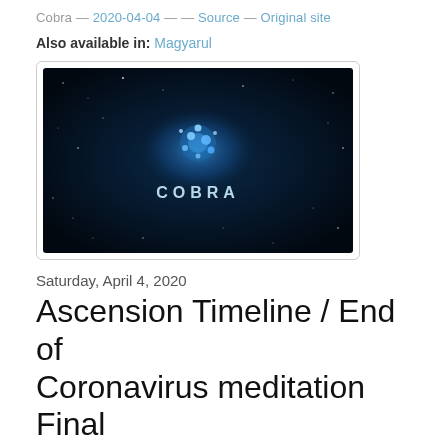Cobra — 2020-04-04 — — Source — Original site
Also available in: Magyarul
[Figure (photo): Dark space/galaxy background image with blue star cluster and 'COBRA' text in the center]
Saturday, April 4, 2020
Ascension Timeline / End of Coronavirus meditation Final Update
Time is approaching our Ascension Timeline /end of Coronavirus meditation and the energies are rising as more and more people have made a decision to join us and we are gaining momentum. We have a real